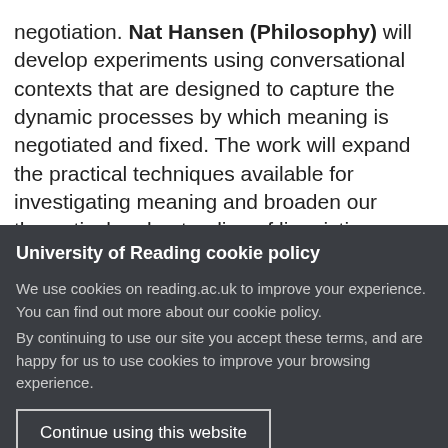negotiation. Nat Hansen (Philosophy) will develop experiments using conversational contexts that are designed to capture the dynamic processes by which meaning is negotiated and fixed. The work will expand the practical techniques available for investigating meaning and broaden our theoretical understanding of linguistic
University of Reading cookie policy
We use cookies on reading.ac.uk to improve your experience. You can find out more about our cookie policy.
By continuing to use our site you accept these terms, and are happy for us to use cookies to improve your browsing experience.
Continue using this website